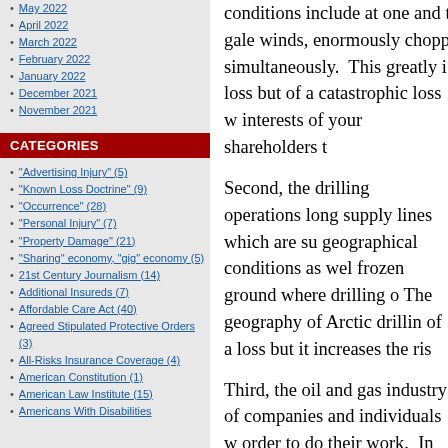May 2022
April 2022
March 2022
February 2022
January 2022
December 2021
November 2021
CATEGORIES
"Advertising Injury" (5)
"Known Loss Doctrine" (9)
"Occurrence" (28)
"Personal Injury" (7)
"Property Damage" (21)
"Sharing" economy, "gig" economy (5)
21st Century Journalism (14)
Additional Insureds (7)
Affordable Care Act (40)
Agreed Stipulated Protective Orders (3)
All-Risks Insurance Coverage (4)
American Constitution (1)
American Law Institute (15)
Americans With Disabilities
conditions include at one and the same time gale winds, enormously chopp simultaneously. This greatly i loss but of a catastrophic loss w interests of your shareholders t
Second, the drilling operations long supply lines which are su geographical conditions as wel frozen ground where drilling o The geography of Arctic drillin of a loss but it increases the ris
Third, the oil and gas industry of companies and individuals w order to do their work. In the work are not simply losses in t business. In the Arctic, the ris